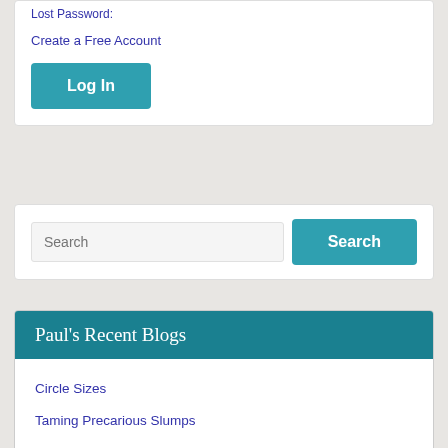Lost Password:
Create a Free Account
Log In
Search
Paul's Recent Blogs
Circle Sizes
Taming Precarious Slumps
Quick and Sturdy Glass Hanging Option